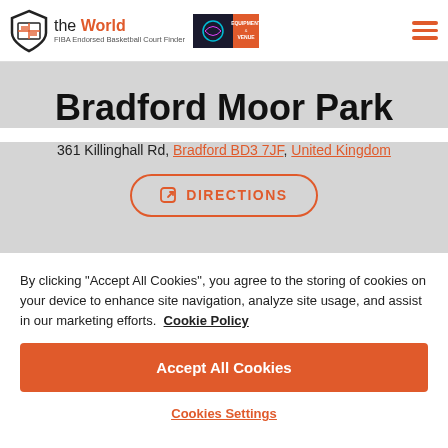the World | FIBA Endorsed Basketball Court Finder
Bradford Moor Park
361 Killinghall Rd, Bradford BD3 7JF, United Kingdom
DIRECTIONS
By clicking "Accept All Cookies", you agree to the storing of cookies on your device to enhance site navigation, analyze site usage, and assist in our marketing efforts. Cookie Policy
Accept All Cookies
Cookies Settings